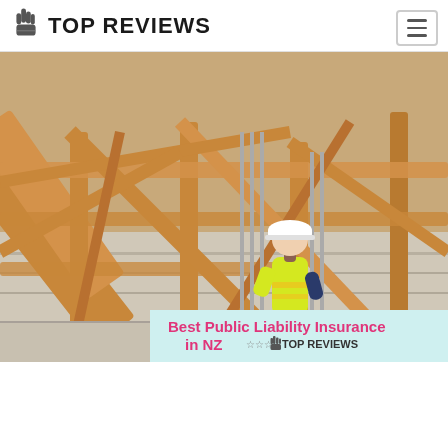TOP REVIEWS
[Figure (photo): Aerial view of a construction site with wooden framing/scaffolding, a worker in a yellow high-visibility shirt and white hard hat visible among the timber beams]
Best Public Liability Insurance in NZ